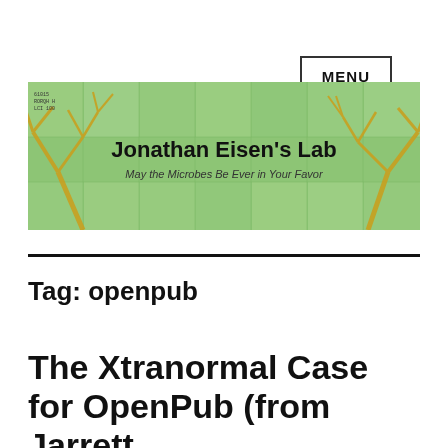MENU
[Figure (illustration): Jonathan Eisen's Lab banner image with green background, microbiology illustrations, and golden tree-like structures. Title reads 'Jonathan Eisen's Lab' and subtitle 'May the Microbes Be Ever in Your Favor']
Tag: openpub
The Xtranormal Case for OpenPub (from Jarrett